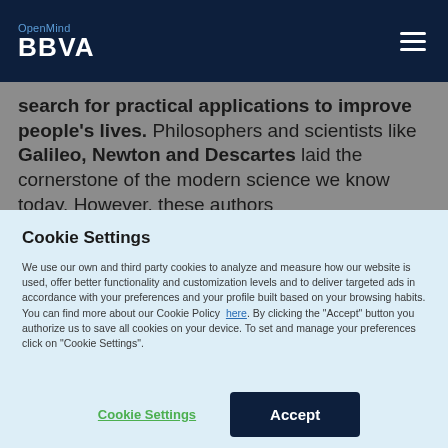OpenMind BBVA
search for practical applications to improve people's lives. Philosophers and scientists like Galileo, Newton and Descartes laid the cornerstone of the modern science we know today. However, these authors
Cookie Settings
We use our own and third party cookies to analyze and measure how our website is used, offer better functionality and customization levels and to deliver targeted ads in accordance with your preferences and your profile built based on your browsing habits. You can find more about our Cookie Policy here. By clicking the "Accept" button you authorize us to save all cookies on your device. To set and manage your preferences click on "Cookie Settings".
Cookie Settings | Accept